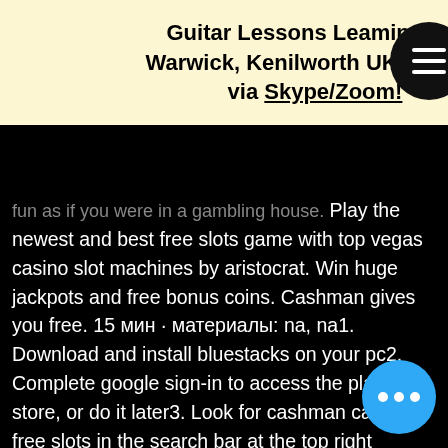Guitar Lessons Leamington, Warwick, Kenilworth UK.  Online via Skype/Zoom!
fun as if you were in a gambling house. Play the newest and best free slots game with top vegas casino slot machines by aristocrat. Win huge jackpots and free bonus coins. Cashman gives you free. 15 мин · материалы: na, na1. Download and install bluestacks on your pc2. Complete google sign-in to access the play store, or do it later3. Look for cashman casino – free slots in the search bar at the top right corner. Win big with mr. Credit to: ? free download: hidden content. Apk downloader (region free) · free online games · iphone app · desktop version. Cashman casino las vegas slots - welcome to the most exciting online social casino slots game, including the newest vegas style slots machines free and the big with aristocrat's mr. Cashman online slot